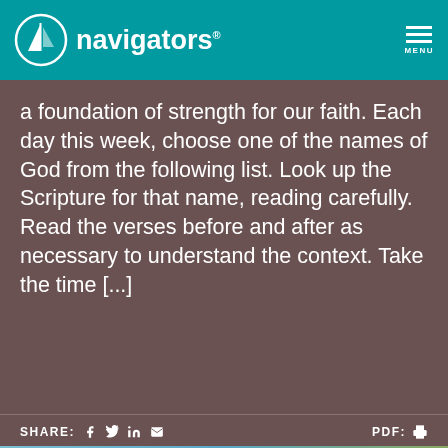navigators
a foundation of strength for our faith. Each day this week, choose one of the names of God from the following list. Look up the Scripture for that name, reading carefully. Read the verses before and after as necessary to understand the context. Take the time [...]
SHARE: [facebook] [twitter] [linkedin] [email]   PDF: [print]
[Figure (photo): Landscape photo strip showing sky and rolling hills/land at the bottom of the page]